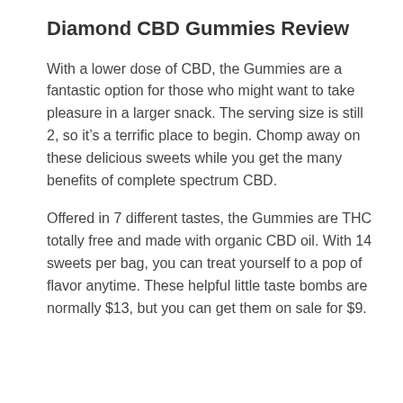Diamond CBD Gummies Review
With a lower dose of CBD, the Gummies are a fantastic option for those who might want to take pleasure in a larger snack. The serving size is still 2, so it’s a terrific place to begin. Chomp away on these delicious sweets while you get the many benefits of complete spectrum CBD.
Offered in 7 different tastes, the Gummies are THC totally free and made with organic CBD oil. With 14 sweets per bag, you can treat yourself to a pop of flavor anytime. These helpful little taste bombs are normally $13, but you can get them on sale for $9.